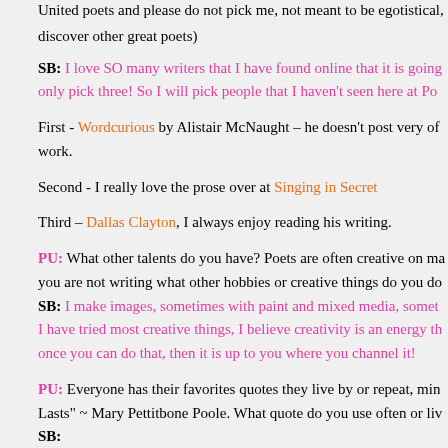United poets and please do not pick me, not meant to be egotistical, discover other great poets)
SB: I love SO many writers that I have found online that it is going to be hard to only pick three! So I will pick people that I haven't seen here at Po...
First - Wordcurious by Alistair McNaught – he doesn't post very of... work.
Second - I really love the prose over at Singing in Secret
Third – Dallas Clayton, I always enjoy reading his writing.
PU: What other talents do you have? Poets are often creative on ma... you are not writing what other hobbies or creative things do you do...
SB: I make images, sometimes with paint and mixed media, somet... I have tried most creative things, I believe creativity is an energy th... once you can do that, then it is up to you where you channel it!
PU: Everyone has their favorites quotes they live by or repeat, min... Lasts" ~ Mary Pettitbone Poole. What quote do you use often or liv...
SB: